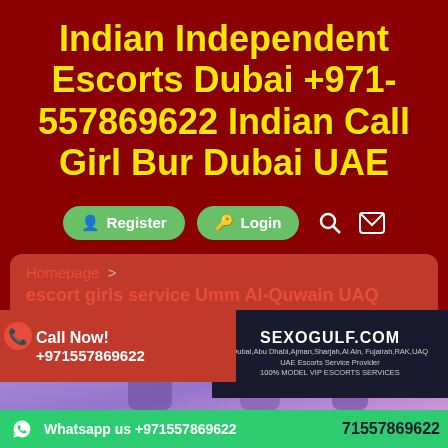Indian Independent Escorts Dubai +971-557869622 Indian Call Girl Bur Dubai UAE
[Figure (screenshot): Navigation bar with green Register and Login buttons, search icon, and mail icon on dark red background]
Homepage > escort girls service Umm Al-Quwain UAQ
[Figure (photo): Bottom composite image: Call Now! +971557869622 banner on left, women photos in center, SEXOGULF.COM overlay on right with Dubai Abu Dhabi Ajman Sharjah Al Ain Fujairah RAK UAQ UAE Escorts Service Provider 100% MODEL VIP ESCORTS SERVICES text]
Whatsapp us +971557869622  71557869622